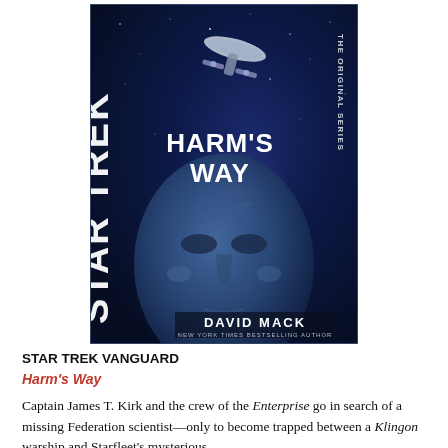[Figure (illustration): Book cover for Star Trek: The Original Series – Harm's Way by David Mack. Dark blue space background with the Enterprise starship at top, a large alien face in blue tones occupying the lower half, and bold white text reading HARM'S WAY. Vertical STAR TREK text on the left spine. Author credit: DAVID MACK, NEW YORK TIMES BESTSELLING AUTHOR at the bottom.]
STAR TREK VANGUARD
Harm's Way
Captain James T. Kirk and the crew of the Enterprise go in search of a missing Federation scientist—only to become trapped between a Klingon warship and Starfleet's mysterious